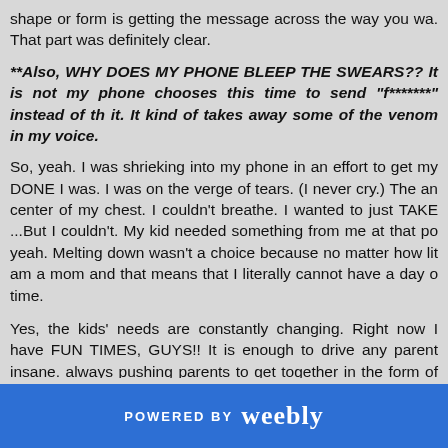shape or form is getting the message across the way you wa. That part was definitely clear.
**Also, WHY DOES MY PHONE BLEEP THE SWEARS?? It is not my phone chooses this time to send "f*******" instead of th it. It kind of takes away some of the venom in my voice.
So, yeah. I was shrieking into my phone in an effort to get my DONE I was. I was on the verge of tears. (I never cry.) The an center of my chest. I couldn't breathe. I wanted to just TAKE ...But I couldn't. My kid needed something from me at that po yeah. Melting down wasn't a choice because no matter how lit am a mom and that means that I literally cannot have a day o time.
Yes, the kids' needs are constantly changing. Right now I have FUN TIMES, GUYS!! It is enough to drive any parent insane. always pushing parents to get together in the form of "play g
POWERED BY weebly